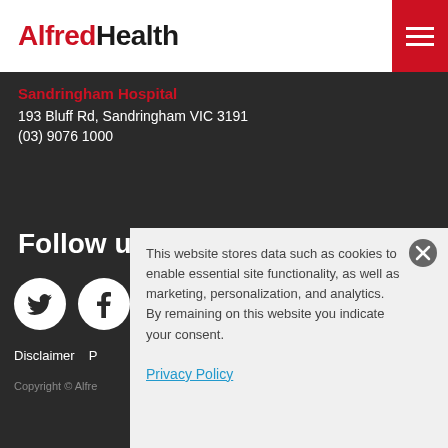Alfred Health
Sandringham Hospital
193 Bluff Rd, Sandringham VIC 3191
(03) 9076 1000
Follow u
[Figure (illustration): Twitter bird icon in white circle]
[Figure (illustration): Facebook f icon in white circle]
Disclaimer   P
Copyright © Alfre
This website stores data such as cookies to enable essential site functionality, as well as marketing, personalization, and analytics. By remaining on this website you indicate your consent.
Privacy Policy